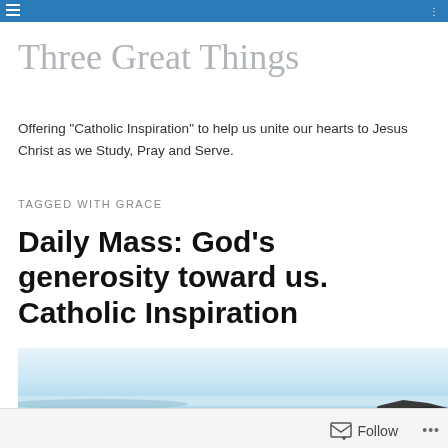Three Great Things
Offering "Catholic Inspiration" to help us unite our hearts to Jesus Christ as we Study, Pray and Serve.
TAGGED WITH GRACE
Daily Mass: God's generosity toward us. Catholic Inspiration
[Figure (photo): Serene seascape with calm water and a distant rocky headland on the right, predominantly light blue and white tones.]
Follow ...